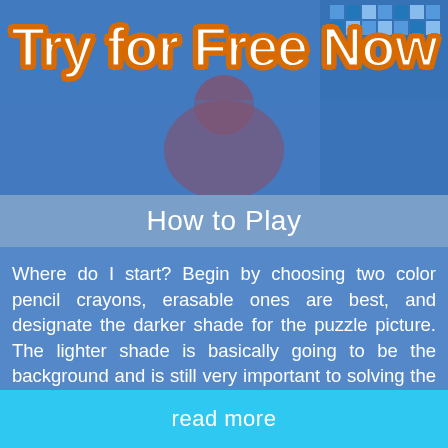[Figure (illustration): Banner image with 'Try for Free Now' text in white with orange outline, over a blue background with pixel puzzle game imagery]
How to Play
Where do I start? Begin by choosing two color pencil crayons, erasable ones are best, and designate the darker shade for the puzzle picture. The lighter shade is basically going to be the background and is still very important to solving the puzzle. Starting with an empty grid, and numbers at the top of columns and left end of rows, you work your way through the puzzle by doing what is most logical or obvious, i.e. the biggest numbers.
read more